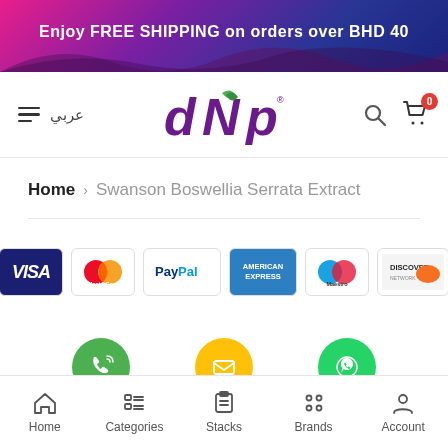Enjoy FREE SHIPPING on orders over BHD 40
[Figure (logo): DNP brand logo with green leaf motif]
عربي
Home > Swanson Boswellia Serrata Extract
[Figure (infographic): Payment method logos: VISA, MasterCard, PayPal, American Express, Maestro, Discover]
[Figure (infographic): Contact icons: Phone (green circle), Email (yellow circle), WhatsApp (green circle)]
Home  Categories  Stacks  Brands  Account